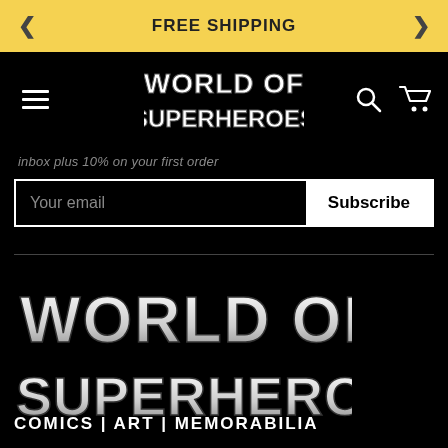FREE SHIPPING
[Figure (logo): World of Superheroes logo in white bold 3D text on black background, navigation bar]
inbox plus 10% on your first order
Your email
Subscribe
[Figure (logo): World of Superheroes logo large white bold 3D text on black background, footer]
COMICS | ART | MEMORABILIA